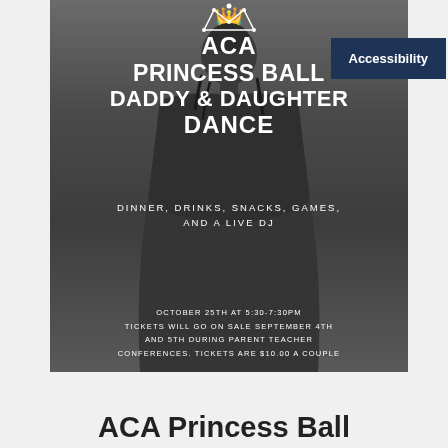[Figure (photo): Grayscale promotional flyer for ACA Princess Ball Daddy & Daughter Dance, featuring a woman in a formal dress with updo hairstyle seen from behind, wearing a decorative crown at top. Text overlaid on dim grayscale background.]
ACA PRINCESS BALL DADDY & DAUGHTER DANCE
DINNER, DRINKS, SNACKS, GAMES, AND A LIVE DJ
OCTOBER 25TH AT 5:30-7:30PM TICKETS WILL GO ON SALE SEPTEMBER 4TH AND 5TH DURING PARENT TEACHER CONFERENCES. TICKETS ARE $10.00 A COUPLE
Accessibility
ACA Princess Ball